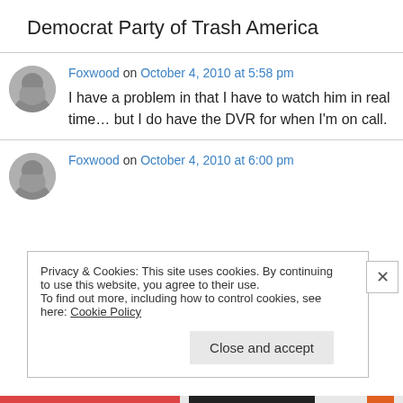Democrat Party of Trash America
Foxwood on October 4, 2010 at 5:58 pm
I have a problem in that I have to watch him in real time… but I do have the DVR for when I'm on call.
Foxwood on October 4, 2010 at 6:00 pm
Privacy & Cookies: This site uses cookies. By continuing to use this website, you agree to their use.
To find out more, including how to control cookies, see here: Cookie Policy